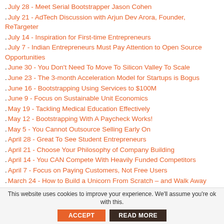July 28 - Meet Serial Bootstrapper Jason Cohen
July 21 - AdTech Discussion with Arjun Dev Arora, Founder, ReTargeter
July 14 - Inspiration for First-time Entrepreneurs
July 7 - Indian Entrepreneurs Must Pay Attention to Open Source Opportunities
June 30 - You Don't Need To Move To Silicon Valley To Scale
June 23 - The 3-month Acceleration Model for Startups is Bogus
June 16 - Bootstrapping Using Services to $100M
June 9 - Focus on Sustainable Unit Economics
May 19 - Tackling Medical Education Effectively
May 12 - Bootstrapping With A Paycheck Works!
May 5 - You Cannot Outsource Selling Early On
April 28 - Great To See Student Entrepreneurs
April 21 - Choose Your Philosophy of Company Building
April 14 - You CAN Compete With Heavily Funded Competitors
April 7 - Focus on Paying Customers, Not Free Users
March 24 - How to Build a Unicorn From Scratch – and Walk Away with Nothing
This website uses cookies to improve your experience. We'll assume you're ok with this. ACCEPT READ MORE